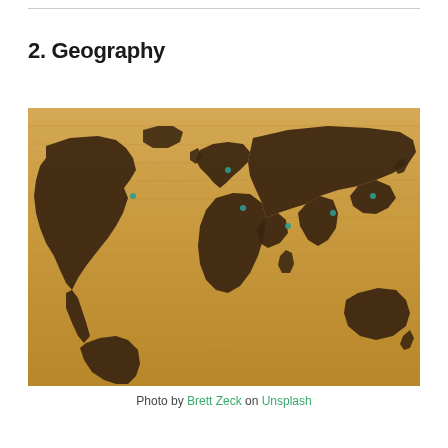2. Geography
[Figure (photo): A world map inlaid in dark stain on a light wood panel floor or wall, with blue pin markers on various locations across the continents.]
Photo by Brett Zeck on Unsplash